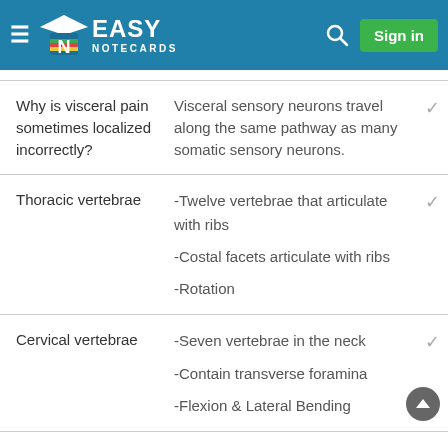EASY NOTECARDS
| Term | Definition |
| --- | --- |
| Why is visceral pain sometimes localized incorrectly? | Visceral sensory neurons travel along the same pathway as many somatic sensory neurons. |
| Thoracic vertebrae | -Twelve vertebrae that articulate with ribs
-Costal facets articulate with ribs
-Rotation |
| Cervical vertebrae | -Seven vertebrae in the neck
-Contain transverse foramina
-Flexion & Lateral Bending |